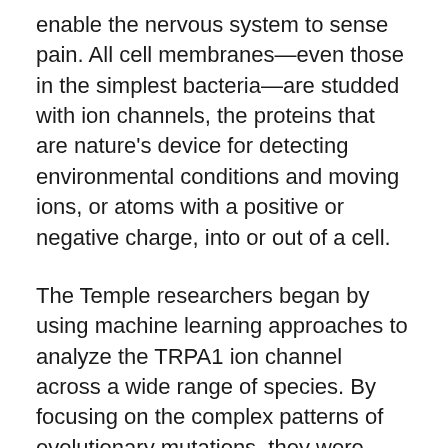enable the nervous system to sense pain. All cell membranes—even those in the simplest bacteria—are studded with ion channels, the proteins that are nature's device for detecting environmental conditions and moving ions, or atoms with a positive or negative charge, into or out of a cell.
The Temple researchers began by using machine learning approaches to analyze the TRPA1 ion channel across a wide range of species. By focusing on the complex patterns of evolutionary mutations, they were then able to infer the principles underlying the functioning of TRPA1.